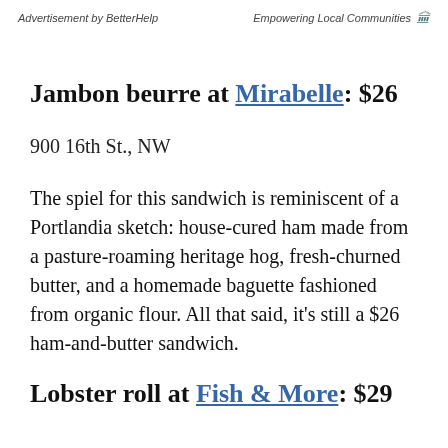Advertisement by BetterHelp    Empowering Local Communities
Jambon beurre at Mirabelle: $26
900 16th St., NW
The spiel for this sandwich is reminiscent of a Portlandia sketch: house-cured ham made from a pasture-roaming heritage hog, fresh-churned butter, and a homemade baguette fashioned from organic flour. All that said, it's still a $26 ham-and-butter sandwich.
Lobster roll at Fish & More: $29